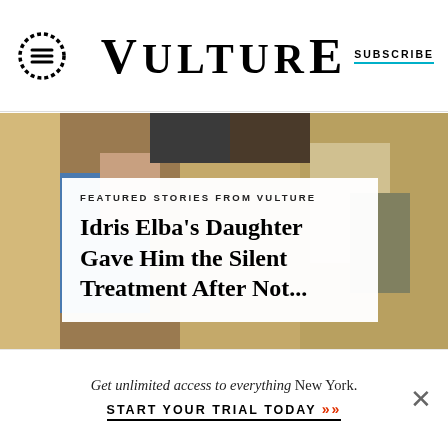VULTURE
[Figure (photo): Background photo of people behind an overlay card]
FEATURED STORIES FROM VULTURE
Idris Elba's Daughter Gave Him the Silent Treatment After Not...
Get unlimited access to everything New York.
START YOUR TRIAL TODAY »